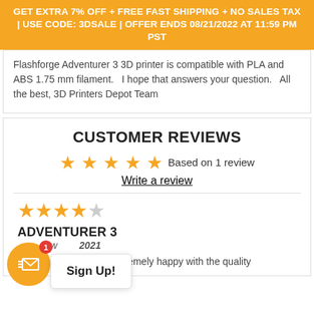GET EXTRA 7% OFF + FREE FAST SHIPPING + NO SALES TAX | USE CODE: 3DSALE | OFFER ENDS 08/21/2022 AT 11:59 PM PST
Flashforge Adventurer 3 3D printer is compatible with PLA and ABS 1.75 mm filament.   I hope that answers your question.   All the best, 3D Printers Depot Team
CUSTOMER REVIEWS
Based on 1 review
Write a review
ADVENTURER 3
January 2021
Great first 3d printer! Extremely happy with the quality